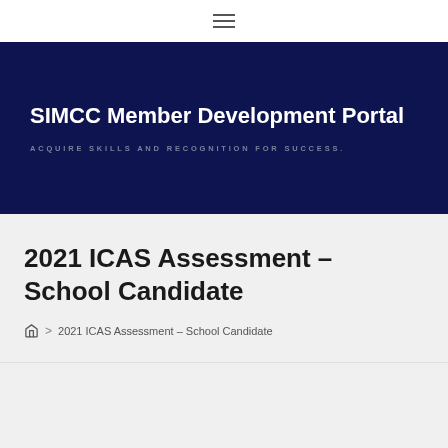☰ (navigation menu icon)
SIMCC Member Development Portal
ACQUIRE SKILLS AND RECOGNITION FOR SUCCESS.
2021 ICAS Assessment – School Candidate
🏠 > 2021 ICAS Assessment – School Candidate